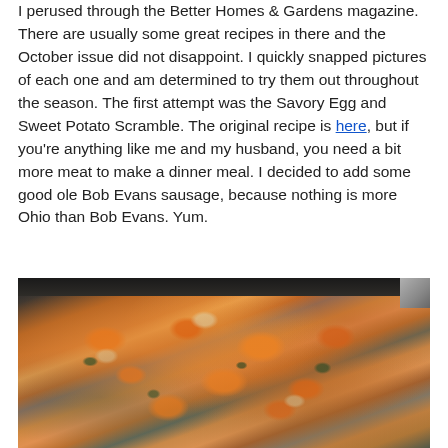While I was sitting at the car shop getting my oil changed, I perused through the Better Homes & Gardens magazine. There are usually some great recipes in there and the October issue did not disappoint. I quickly snapped pictures of each one and am determined to try them out throughout the season. The first attempt was the Savory Egg and Sweet Potato Scramble. The original recipe is here, but if you're anything like me and my husband, you need a bit more meat to make a dinner meal. I decided to add some good ole Bob Evans sausage, because nothing is more Ohio than Bob Evans. Yum.
[Figure (photo): A skillet containing Savory Egg and Sweet Potato Scramble with orange sweet potato chunks, scrambled eggs, ground sausage, and green spinach, photographed from above on a dark stovetop.]